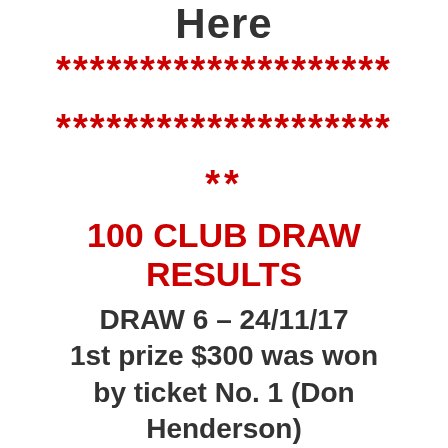Here
********************
********************
**
100 CLUB DRAW RESULTS
DRAW 6 – 24/11/17
1st prize $300 was won by ticket No. 1 (Don Henderson)
2nd prize$200 was won